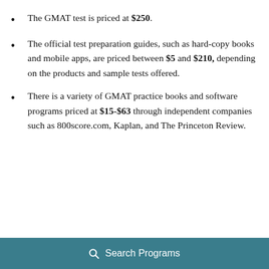The GMAT test is priced at $250.
The official test preparation guides, such as hard-copy books and mobile apps, are priced between $5 and $210, depending on the products and sample tests offered.
There is a variety of GMAT practice books and software programs priced at $15-$63 through independent companies such as 800score.com, Kaplan, and The Princeton Review.
Search Programs